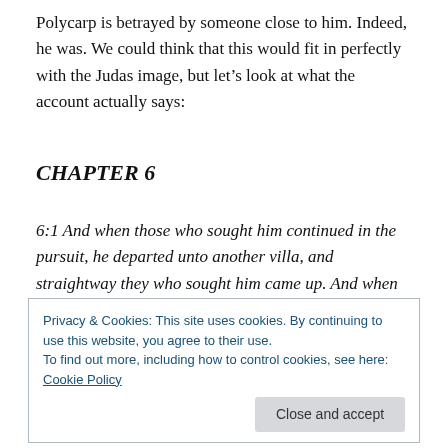Polycarp is betrayed by someone close to him. Indeed, he was. We could think that this would fit in perfectly with the Judas image, but let's look at what the account actually says:
CHAPTER 6
6:1 And when those who sought him continued in the pursuit, he departed unto another villa, and straightway they who sought him came up. And when they found him not, they apprehended two lads, of whom the one, when
Privacy & Cookies: This site uses cookies. By continuing to use this website, you agree to their use.
To find out more, including how to control cookies, see here: Cookie Policy
[Close and accept]
Cleronomus, Herodes by name, hasted to bring him into